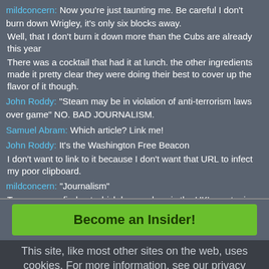mildconcern: Now you're just taunting me. Be careful I don't burn down Wrigley, it's only six blocks away.
Well, that I don't burn it down more than the Cubs are already this year
There was a cocktail that had it at lunch. the other ingredients made it pretty clear they were doing their best to cover up the flavor of it though.
John Roddy: "Steam may be in violation of anti-terrorism laws over game" NO. BAD JOURNALISM.
Samuel Abram: Which article? Link me!
John Roddy: It's the Washington Free Beacon
I don't want to link to it because I don't want that URL to infect my poor clipboard.
mildconcern: "Journalism"
Tomorrow we find out which horror show is the UK's next prime minister. I feel like we could have a betting line on the worst Internet policies they'll propose.
Become an Insider!
This site, like most other sites on the web, uses cookies. For more information, see our privacy policy
GOT IT